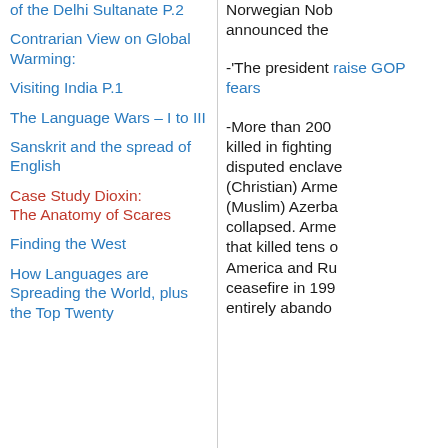of the Delhi Sultanate P.2
Contrarian View on Global Warming:
Visiting India P.1
The Language Wars – I to III
Sanskrit and the spread of English
Case Study Dioxin: The Anatomy of Scares
Finding the West
How Languages are Spreading the World, plus the Top Twenty
Norwegian Nob announced the
-'The president raise GOP fears
-More than 200 killed in fighting disputed enclave (Christian) Arme (Muslim) Azerba collapsed. Arme that killed tens of America and Ru ceasefire in 199 entirely abando